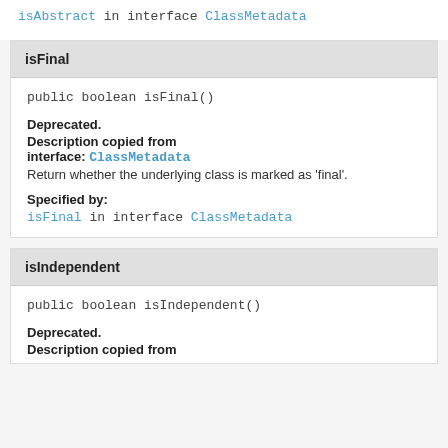isAbstract in interface ClassMetadata
isFinal
public boolean isFinal()
Deprecated.
Description copied from interface: ClassMetadata
Return whether the underlying class is marked as 'final'.
Specified by:
isFinal in interface ClassMetadata
isIndependent
public boolean isIndependent()
Deprecated.
Description copied from